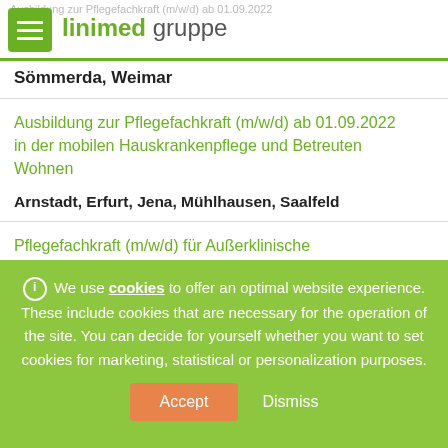Ausbildung zur Pflegefachkraft (m/w/d) ab 01.09.2022 — linimed gruppe — Arnstadt, Erfurt, Eisenach, Friedberg, Gera, Greiz, Halle, Jena, Leipzig, Mühlhausen, Nordhausen, Saalfeld,
Sömmerda, Weimar
Ausbildung zur Pflegefachkraft (m/w/d) ab 01.09.2022 in der mobilen Hauskrankenpflege und Betreuten Wohnen
Arnstadt, Erfurt, Jena, Mühlhausen, Saalfeld
Pflegefachkraft (m/w/d) für Außerklinische Intensivpflege
We use cookies to offer an optimal website experience. These include cookies that are necessary for the operation of the site. You can decide for yourself whether you want to set cookies for marketing, statistical or personalization purposes.